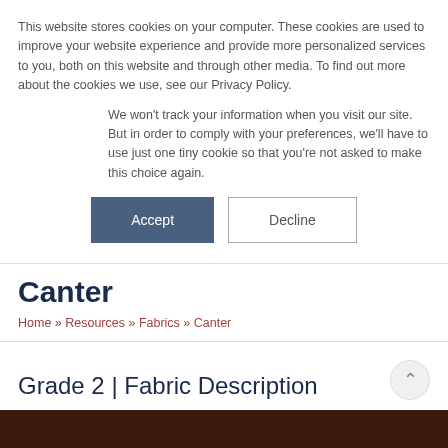This website stores cookies on your computer. These cookies are used to improve your website experience and provide more personalized services to you, both on this website and through other media. To find out more about the cookies we use, see our Privacy Policy.
We won't track your information when you visit our site. But in order to comply with your preferences, we'll have to use just one tiny cookie so that you're not asked to make this choice again.
Accept | Decline
Canter
Home » Resources » Fabrics » Canter
Grade 2 | Fabric Description
[Figure (photo): Dark brown fabric image strip at the bottom of the page]